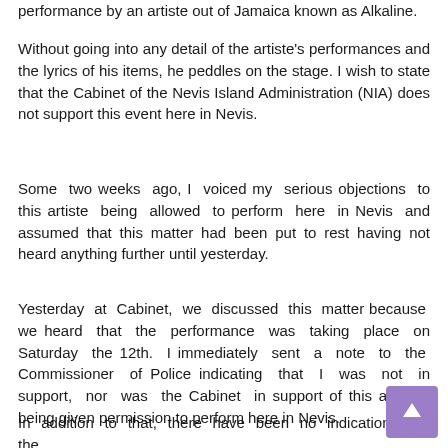performance by an artiste out of Jamaica known as Alkaline.
Without going into any detail of the artiste's performances and the lyrics of his items, he peddles on the stage. I wish to state that the Cabinet of the Nevis Island Administration (NIA) does not support this event here in Nevis.
Some two weeks ago, I voiced my serious objections to this artiste being allowed to perform here in Nevis and assumed that this matter had been put to rest having not heard anything further until yesterday.
Yesterday at Cabinet, we discussed this matter because we heard that the performance was taking place on Saturday the 12th. I immediately sent a note to the Commissioner of Police indicating that I was not in support, nor was the Cabinet in support of this artiste's being given permission to perform here in Nevis.
In addition to that, there have been no indication from the